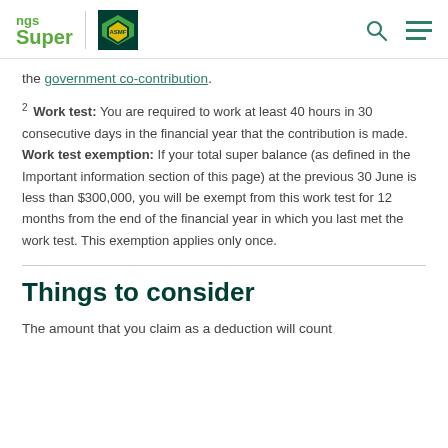ngs Super | AustralianSuperFund logo
the government co-contribution.
2 Work test: You are required to work at least 40 hours in 30 consecutive days in the financial year that the contribution is made. Work test exemption: If your total super balance (as defined in the Important information section of this page) at the previous 30 June is less than $300,000, you will be exempt from this work test for 12 months from the end of the financial year in which you last met the work test. This exemption applies only once.
Things to consider
The amount that you claim as a deduction will count